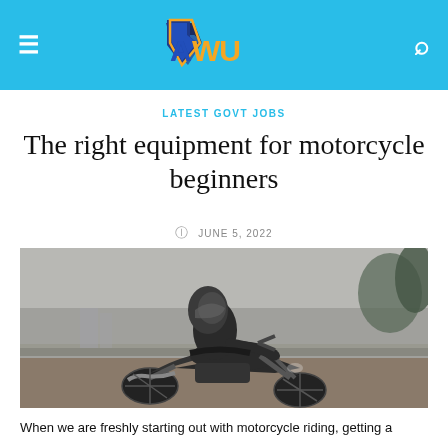AWU
LATEST GOVT JOBS
The right equipment for motorcycle beginners
JUNE 5, 2022
[Figure (photo): A motorcyclist wearing a full-face helmet and dark jacket seated on a dark sport motorcycle, photographed on a road with an overcast sky and trees/bridge in the background. Desaturated/moody color tone.]
When we are freshly starting out with motorcycle riding, getting a